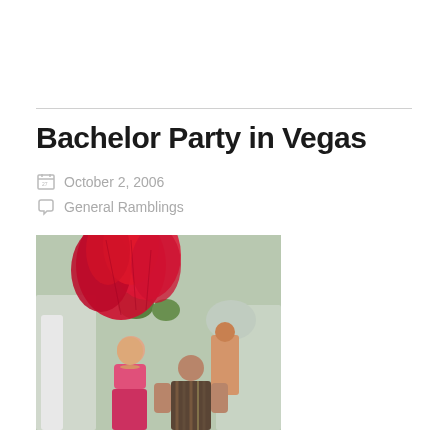Bachelor Party in Vegas
October 2, 2006
General Ramblings
[Figure (photo): A woman in a pink bikini with a large red feather headdress standing next to a man in a striped polo shirt, outdoors in what appears to be Las Vegas, with another person visible in the background.]